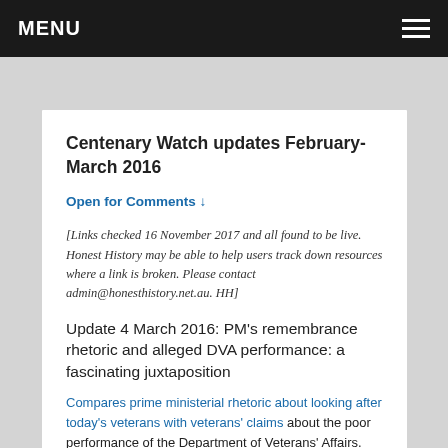MENU
Centenary Watch updates February-March 2016
Open for Comments ↓
[Links checked 16 November 2017 and all found to be live. Honest History may be able to help users track down resources where a link is broken. Please contact admin@honesthistory.net.au. HH]
Update 4 March 2016: PM's remembrance rhetoric and alleged DVA performance: a fascinating juxtaposition
Compares prime ministerial rhetoric about looking after today's veterans with veterans' claims about the poor performance of the Department of Veterans' Affairs. They want